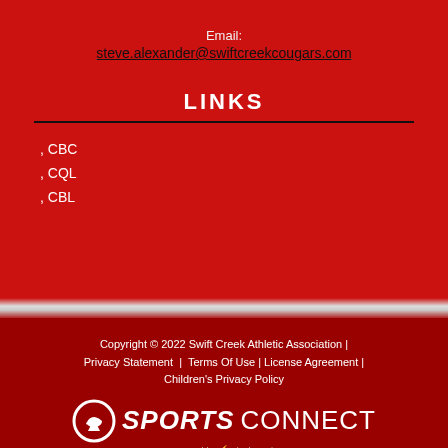Email: steve.alexander@swiftcreekcougars.com
LINKS
, CBC
, CQL
, CBL
Copyright © 2022 Swift Creek Athletic Association | Privacy Statement | Terms Of Use | License Agreement | Children's Privacy Policy
[Figure (logo): Sports Connect powered by Stack Sports logo in white]